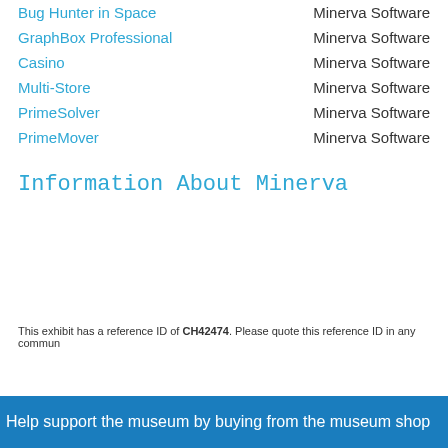Bug Hunter in Space — Minerva Software
GraphBox Professional — Minerva Software
Casino — Minerva Software
Multi-Store — Minerva Software
PrimeSolver — Minerva Software
PrimeMover — Minerva Software
Information About Minerva
This exhibit has a reference ID of CH42474. Please quote this reference ID in any commun
Help support the museum by buying from the museum shop